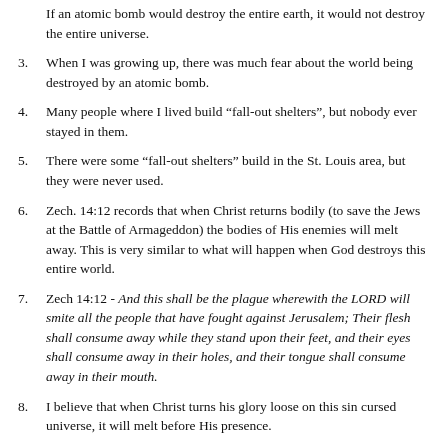If an atomic bomb would destroy the entire earth, it would not destroy the entire universe.
When I was growing up, there was much fear about the world being destroyed by an atomic bomb.
Many people where I lived build “fall-out shelters”, but nobody ever stayed in them.
There were some “fall-out shelters” build in the St. Louis area, but they were never used.
Zech. 14:12 records that when Christ returns bodily (to save the Jews at the Battle of Armageddon) the bodies of His enemies will melt away. This is very similar to what will happen when God destroys this entire world.
Zech 14:12 - And this shall be the plague wherewith the LORD will smite all the people that have fought against Jerusalem; Their flesh shall consume away while they stand upon their feet, and their eyes shall consume away in their holes, and their tongue shall consume away in their mouth.
I believe that when Christ turns his glory loose on this sin cursed universe, it will melt before His presence.